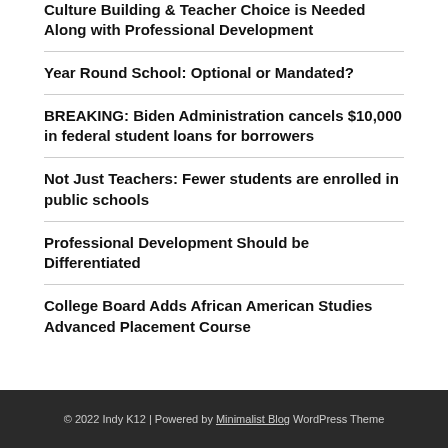Culture Building & Teacher Choice is Needed Along with Professional Development
Year Round School: Optional or Mandated?
BREAKING: Biden Administration cancels $10,000 in federal student loans for borrowers
Not Just Teachers: Fewer students are enrolled in public schools
Professional Development Should be Differentiated
College Board Adds African American Studies Advanced Placement Course
© 2022 Indy K12 | Powered by Minimalist Blog WordPress Theme